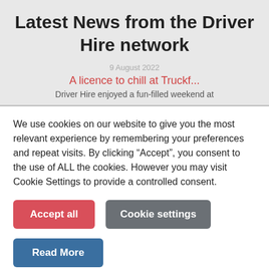Latest News from the Driver Hire network
9 August 2022
A licence to chill at Truckf...
Driver Hire enjoyed a fun-filled weekend at
We use cookies on our website to give you the most relevant experience by remembering your preferences and repeat visits. By clicking “Accept”, you consent to the use of ALL the cookies. However you may visit Cookie Settings to provide a controlled consent.
Accept all
Cookie settings
Read More